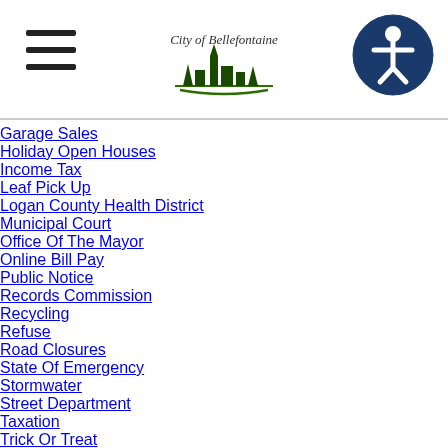[Figure (logo): City of Bellefontaine logo with city skyline silhouette and cursive text]
[Figure (illustration): Hamburger menu icon (three horizontal lines)]
[Figure (illustration): Accessibility icon - person in circle with dark blue background]
Garage Sales
Holiday Open Houses
Income Tax
Leaf Pick Up
Logan County Health District
Municipal Court
Office Of The Mayor
Online Bill Pay
Public Notice
Records Commission
Recycling
Refuse
Road Closures
State Of Emergency
Stormwater
Street Department
Taxation
Trick Or Treat
Utilities